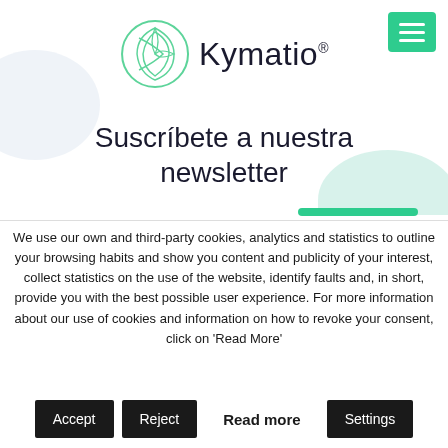[Figure (logo): Kymatio logo with circular leaf/spiral design in green outline and the text 'Kymatio®' in dark serif font]
Suscríbete a nuestra newsletter
We use our own and third-party cookies, analytics and statistics to outline your browsing habits and show you content and publicity of your interest, collect statistics on the use of the website, identify faults and, in short, provide you with the best possible user experience. For more information about our use of cookies and information on how to revoke your consent, click on 'Read More'
Accept
Reject
Read more
Settings